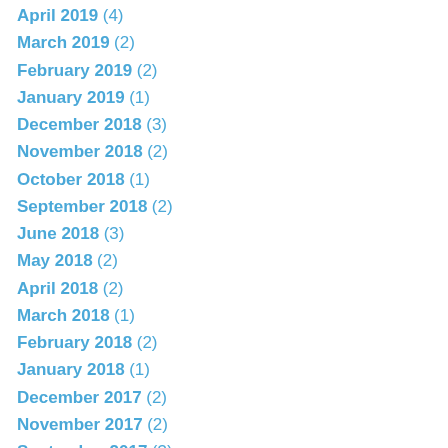April 2019 (4)
March 2019 (2)
February 2019 (2)
January 2019 (1)
December 2018 (3)
November 2018 (2)
October 2018 (1)
September 2018 (2)
June 2018 (3)
May 2018 (2)
April 2018 (2)
March 2018 (1)
February 2018 (2)
January 2018 (1)
December 2017 (2)
November 2017 (2)
September 2017 (3)
August 2017 (3)
June 2017 (3)
May 2017 (1)